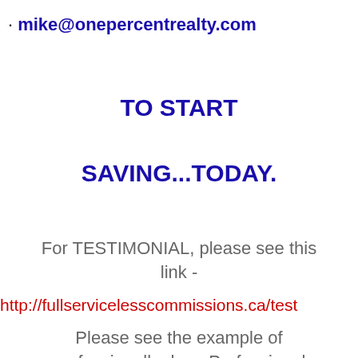mike@onepercentrealty.com
TO START
SAVING...TODAY.
For TESTIMONIAL, please see this link -
http://fullservicelesscommissions.ca/test
Please see the example of professionally done Professional